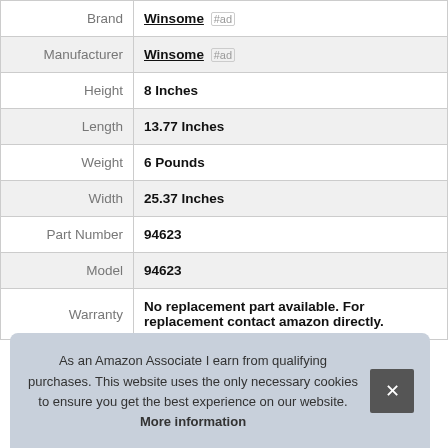| Attribute | Value |
| --- | --- |
| Brand | Winsome #ad |
| Manufacturer | Winsome #ad |
| Height | 8 Inches |
| Length | 13.77 Inches |
| Weight | 6 Pounds |
| Width | 25.37 Inches |
| Part Number | 94623 |
| Model | 94623 |
| Warranty | No replacement part available. For replacement contact amazon directly. |
As an Amazon Associate I earn from qualifying purchases. This website uses the only necessary cookies to ensure you get the best experience on our website. More information